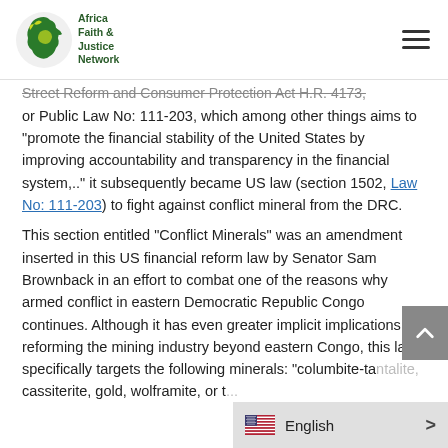Africa Faith & Justice Network
Street Reform and Consumer Protection Act H.R. 4173, or Public Law No: 111-203, which among other things aims to “promote the financial stability of the United States by improving accountability and transparency in the financial system,..” it subsequently became US law (section 1502, Law No: 111-203) to fight against conflict mineral from the DRC.
This section entitled “Conflict Minerals” was an amendment inserted in this US financial reform law by Senator Sam Brownback in an effort to combat one of the reasons why armed conflict in eastern Democratic Republic Congo continues. Although it has even greater implicit implications in reforming the mining industry beyond eastern Congo, this law specifically targets the following minerals: “columbite-ta... cassiterite, gold, wolframite, or t...